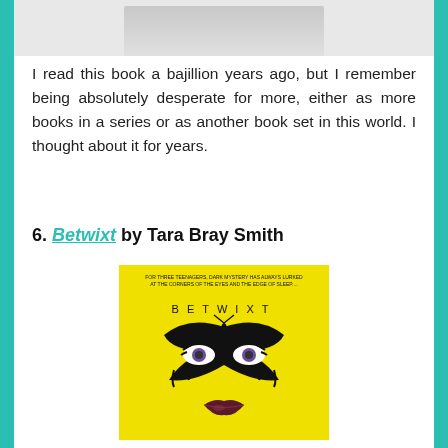[Figure (photo): Partial top of a book cover image, cropped at top of page]
I read this book a bajillion years ago, but I remember being absolutely desperate for more, either as more books in a series or as another book set in this world. I thought about it for years.
6. Betwixt by Tara Bray Smith
[Figure (photo): Book cover of Betwixt by Tara Bray Smith — yellow background with dramatic black butterfly/moth illustration over a pair of eyes and lips, title BETWIXT spelled out across the middle]